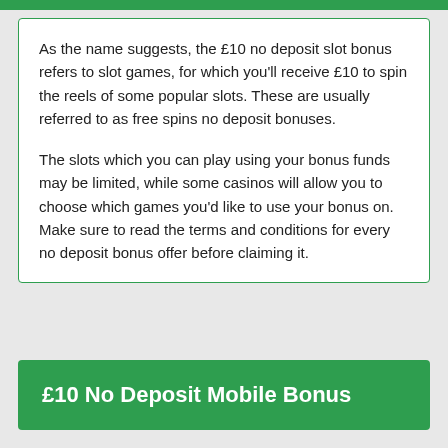As the name suggests, the £10 no deposit slot bonus refers to slot games, for which you'll receive £10 to spin the reels of some popular slots. These are usually referred to as free spins no deposit bonuses.
The slots which you can play using your bonus funds may be limited, while some casinos will allow you to choose which games you'd like to use your bonus on. Make sure to read the terms and conditions for every no deposit bonus offer before claiming it.
£10 No Deposit Mobile Bonus